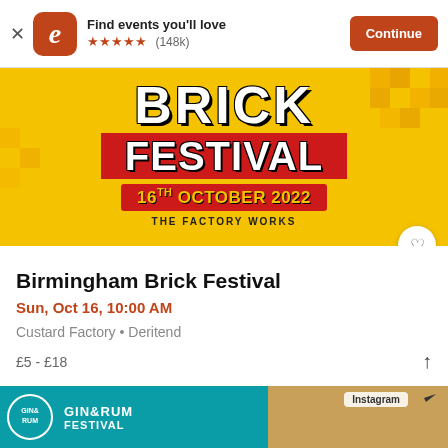[Figure (screenshot): Eventbrite app banner with logo, star rating (148k reviews), and Continue button]
[Figure (photo): Birmingham Brick Festival event banner on yellow background with 'BRICK FESTIVAL' text, date '16TH OCTOBER 2022', venue 'THE FACTORY WORKS', and a heart/favorite button]
Birmingham Brick Festival
Sun, Oct 16, 10:00 AM
Custard Factory • Deritend
£5 - £18
[Figure (photo): Bottom advertisement banner showing Gin & Rum Festival promotional image with Instagram logo]